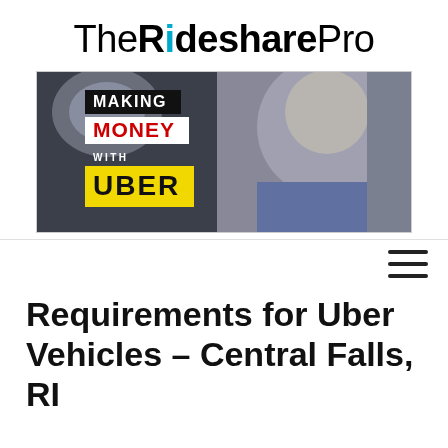TheRidesharePro
[Figure (photo): Banner image showing a man smiling in a car interior with text overlay: MAKING MONEY WITH UBER]
[Figure (other): Hamburger menu icon (three horizontal lines)]
Requirements for Uber Vehicles – Central Falls, RI